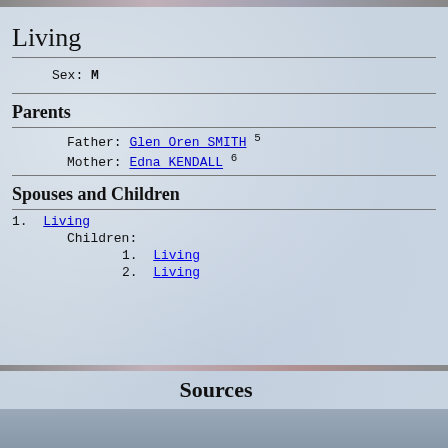Living
Sex: M
Parents
Father: Glen Oren SMITH 5
Mother: Edna KENDALL 6
Spouses and Children
1. Living
Children:
1. Living
2. Living
Sources